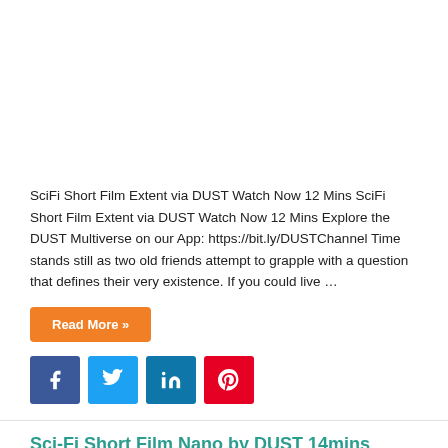[Figure (other): Advertisement / empty white space at top of page]
SciFi Short Film Extent via DUST Watch Now 12 Mins SciFi Short Film Extent via DUST Watch Now 12 Mins Explore the DUST Multiverse on our App: https://bit.ly/DUSTChannel Time stands still as two old friends attempt to grapple with a question that defines their very existence. If you could live …
Read More »
[Figure (infographic): Social share buttons: Facebook (blue), Twitter (light blue), LinkedIn (blue), Pinterest (red)]
Sci-Fi Short Film Nano by DUST 14mins Watch Now !!
August 16, 2021   Short Films